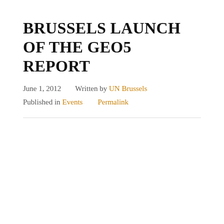BRUSSELS LAUNCH OF THE GEO5 REPORT
June 1, 2012    Written by UN Brussels
Published in Events    Permalink